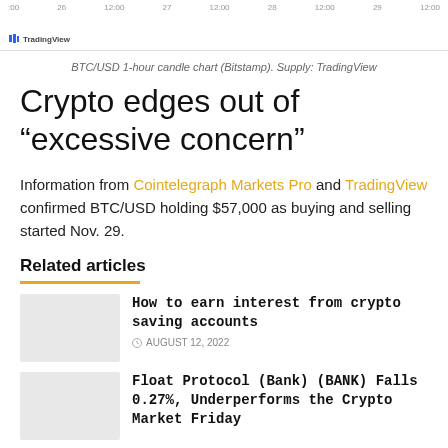[Figure (screenshot): BTC/USD 1-hour candle chart from TradingView (Bitstamp) showing date axis labels: 00, 26, 12:00, 27, 12:00, 28, 12:00, 29, 12:00. TradingView logo visible at bottom left of chart area.]
BTC/USD 1-hour candle chart (Bitstamp). Supply: TradingView
Crypto edges out of “excessive concern”
Information from Cointelegraph Markets Pro and TradingView confirmed BTC/USD holding $57,000 as buying and selling started Nov. 29.
Related articles
How to earn interest from crypto saving accounts
AUGUST 12, 2022
Float Protocol (Bank) (BANK) Falls 0.27%, Underperforms the Crypto Market Friday